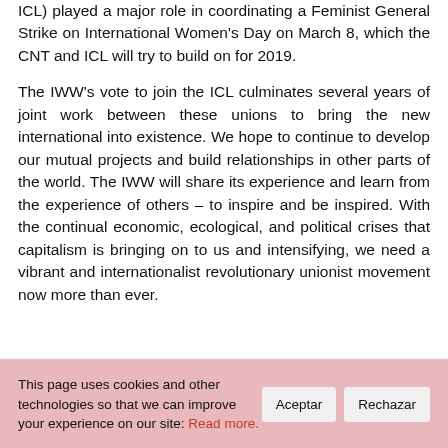ICL) played a major role in coordinating a Feminist General Strike on International Women's Day on March 8, which the CNT and ICL will try to build on for 2019.
The IWW's vote to join the ICL culminates several years of joint work between these unions to bring the new international into existence. We hope to continue to develop our mutual projects and build relationships in other parts of the world. The IWW will share its experience and learn from the experience of others – to inspire and be inspired. With the continual economic, ecological, and political crises that capitalism is bringing on to us and intensifying, we need a vibrant and internationalist revolutionary unionist movement now more than ever.
This page uses cookies and other technologies so that we can improve your experience on our site: Read more.